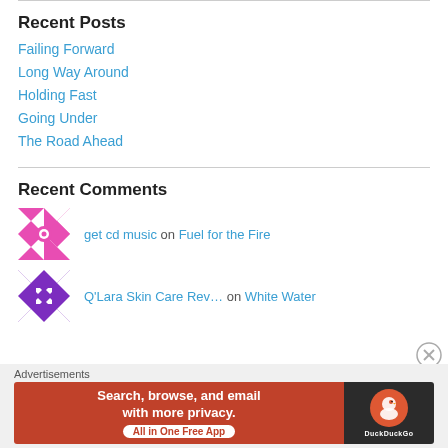Recent Posts
Failing Forward
Long Way Around
Holding Fast
Going Under
The Road Ahead
Recent Comments
get cd music on Fuel for the Fire
Q'Lara Skin Care Rev… on White Water
Advertisements
[Figure (screenshot): DuckDuckGo advertisement banner: 'Search, browse, and email with more privacy. All in One Free App']